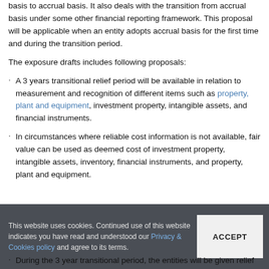basis to accrual basis. It also deals with the transition from accrual basis under some other financial reporting framework. This proposal will be applicable when an entity adopts accrual basis for the first time and during the transition period.
The exposure drafts includes following proposals:
· A 3 years transitional relief period will be available in relation to measurement and recognition of different items such as property, plant and equipment, investment property, intangible assets, and financial instruments.
· In circumstances where reliable cost information is not available, fair value can be used as deemed cost of investment property, intangible assets, inventory, financial instruments, and property, plant and equipment.
This website uses cookies. Continued use of this website indicates you have read and understood our Privacy & Cookies policy and agree to its terms.
· During the 3 year transitional period, the entities will be given relief